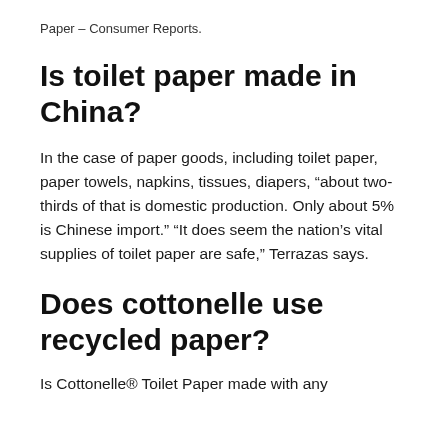Paper – Consumer Reports.
Is toilet paper made in China?
In the case of paper goods, including toilet paper, paper towels, napkins, tissues, diapers, “about two-thirds of that is domestic production. Only about 5% is Chinese import.” “It does seem the nation’s vital supplies of toilet paper are safe,” Terrazas says.
Does cottonelle use recycled paper?
Is Cottonelle® Toilet Paper made with any